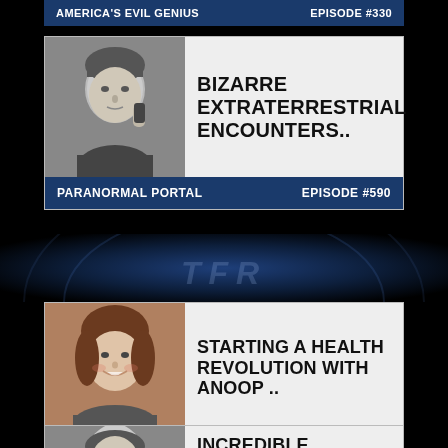AMERICA'S EVIL GENIUS | EPISODE #330
[Figure (photo): Black and white headshot of a man holding a phone to his ear]
BIZARRE EXTRATERRESTRIAL ENCOUNTERS..
PARANORMAL PORTAL | EPISODE #590
[Figure (photo): TFR logo background banner]
[Figure (photo): Color headshot of a smiling woman]
STARTING A HEALTH REVOLUTION WITH ANOOP ..
SPIRITS JOURNEY | EPISODE #164
[Figure (photo): Black and white headshot of a man]
INCREDIBLE PARANORMAL MOMENTS..